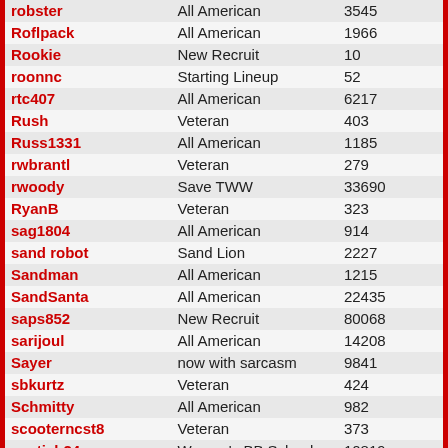| Username | Title | Points |
| --- | --- | --- |
| robster | All American | 3545 |
| Roflpack | All American | 1966 |
| Rookie | New Recruit | 10 |
| roonnc | Starting Lineup | 52 |
| rtc407 | All American | 6217 |
| Rush | Veteran | 403 |
| Russ1331 | All American | 1185 |
| rwbrantl | Veteran | 279 |
| rwoody | Save TWW | 33690 |
| RyanB | Veteran | 323 |
| sag1804 | All American | 914 |
| sand robot | Sand Lion | 2227 |
| Sandman | All American | 1215 |
| SandSanta | All American | 22435 |
| saps852 | New Recruit | 80068 |
| sarijoul | All American | 14208 |
| Sayer | now with sarcasm | 9841 |
| sbkurtz | Veteran | 424 |
| Schmitty | All American | 982 |
| scooterncst8 | Veteran | 373 |
| scotieb24 | Women's BB School | 10819 |